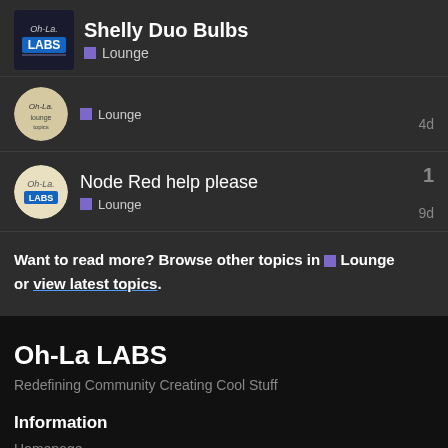Shelly Duo Bulbs — Lounge
Lounge — 4d
Node Red help please — Lounge — 9d — 1 reply
Want to read more? Browse other topics in Lounge or view latest topics.
Oh-La LABS
Redefining Community Creating Cool Stuff
Information
Homepage